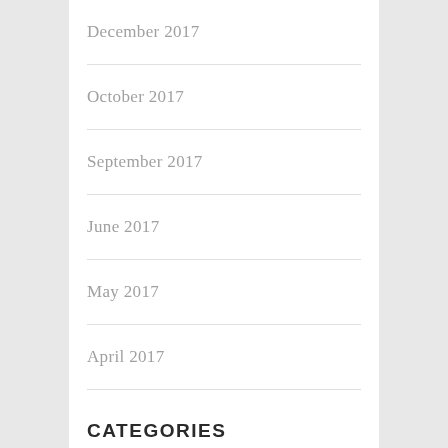December 2017
October 2017
September 2017
June 2017
May 2017
April 2017
CATEGORIES